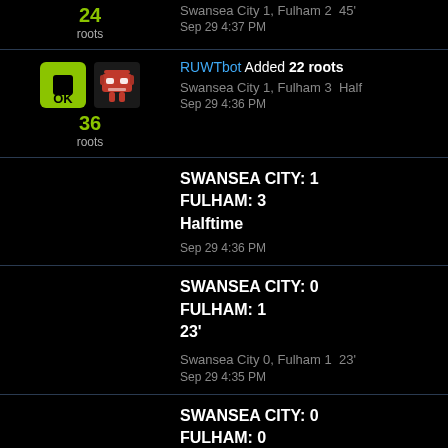24 roots
Swansea City 1, Fulham 2  45'
Sep 29 4:37 PM
RUWTbot Added 22 roots
Swansea City 1, Fulham 3  Half
Sep 29 4:36 PM
36 roots
SWANSEA CITY: 1
FULHAM: 3
Halftime
Sep 29 4:36 PM
SWANSEA CITY: 0
FULHAM: 1
23'
Swansea City 0, Fulham 1  23'
Sep 29 4:35 PM
SWANSEA CITY: 0
FULHAM: 0
8'
Swansea City 0, Fulham 0  8'
Sep 29 4:35 PM